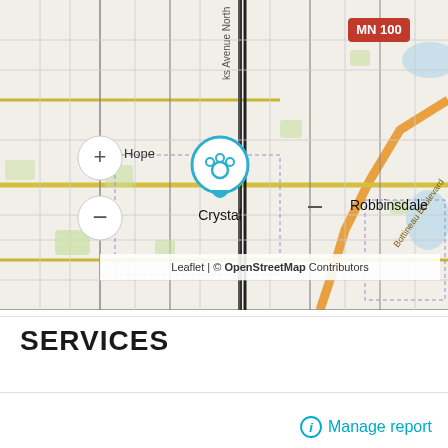[Figure (map): OpenStreetMap view centered on Crystal, Minnesota area showing surrounding neighborhoods including New Hope, Robbinsdale, and highway MN 100. A blue circular map marker with a paw print icon is placed over Crystal. Map controls (zoom in/out buttons) visible on the left. Attribution reads: Leaflet | © OpenStreetMap Contributors.]
SERVICES
Manage report